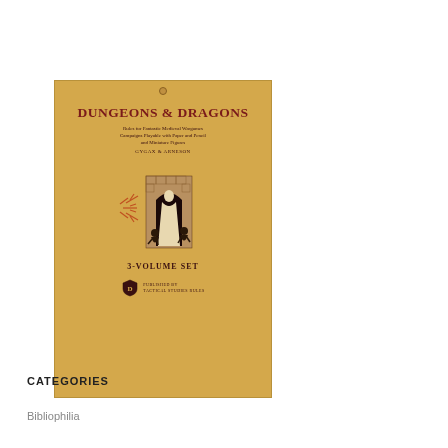[Figure (photo): Book cover of the original Dungeons & Dragons 3-Volume Set, published by Tactical Studies Rules. The cover has a tan/yellow-orange aged paper background. Title 'DUNGEONS & DRAGONS' in large red bold serif lettering. Subtitle reads 'Rules for Fantastic Medieval Wargames Campaigns Playable with Paper and Pencil and Miniature Figures'. Authors listed as 'GYGAX & ARNESON'. Center illustration shows a robed figure standing in an arched stone doorway with two crouching goblin-like creatures flanking it, and a spiky burst design on the left. Below illustration: '3-VOLUME SET'. Publisher logo (a shield with creature) and text 'PUBLISHED BY TACTICAL STUDIES RULES'.]
CATEGORIES
Bibliophilia